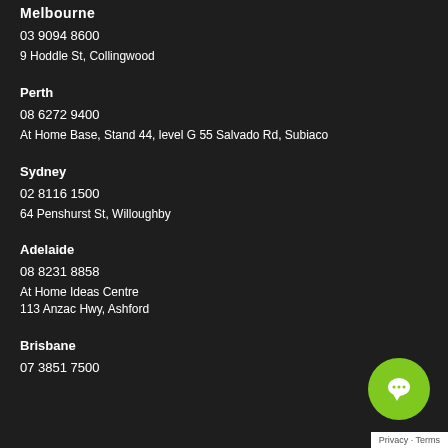Melbourne
03 9094 8600
9 Hoddle St, Collingwood
Perth
08 6272 9400
At Home Base, Stand 44, level G 55 Salvado Rd, Subiaco
Sydney
02 8116 1500
64 Penshurst St, Willoughby
Adelaide
08 8231 8858
At Home Ideas Centre
113 Anzac Hwy, Ashford
Brisbane
07 3851 7500